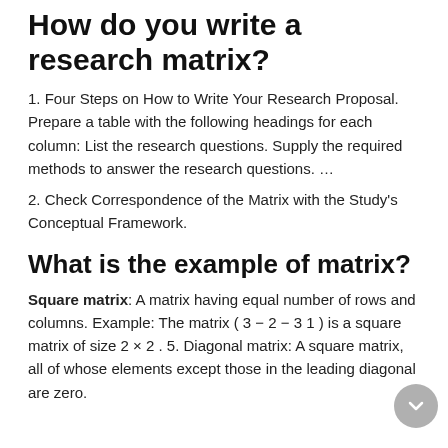How do you write a research matrix?
1. Four Steps on How to Write Your Research Proposal. Prepare a table with the following headings for each column: List the research questions. Supply the required methods to answer the research questions. …
2. Check Correspondence of the Matrix with the Study's Conceptual Framework.
What is the example of matrix?
Square matrix: A matrix having equal number of rows and columns. Example: The matrix ( 3 − 2 − 3 1 ) is a square matrix of size 2 × 2 . 5. Diagonal matrix: A square matrix, all of whose elements except those in the leading diagonal are zero.